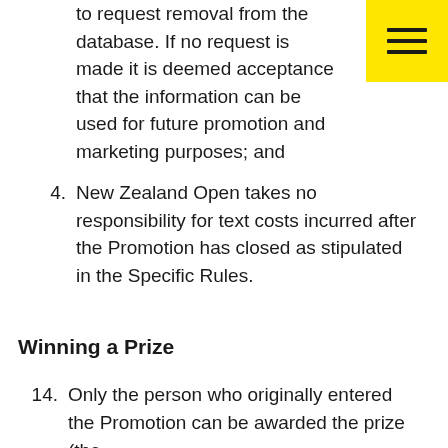to request removal from the database. If no request is made it is deemed acceptance that the information can be used for future promotion and marketing purposes; and
4. New Zealand Open takes no responsibility for text costs incurred after the Promotion has closed as stipulated in the Specific Rules.
Winning a Prize
14. Only the person who originally entered the Promotion can be awarded the prize (the